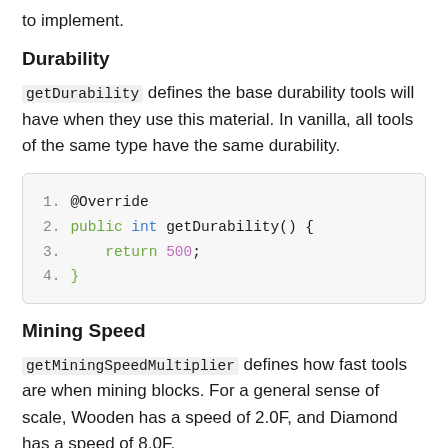to implement.
Durability
getDurability defines the base durability tools will have when they use this material. In vanilla, all tools of the same type have the same durability.
@Override
public int getDurability() {
    return 500;
}
Mining Speed
getMiningSpeedMultiplier defines how fast tools are when mining blocks. For a general sense of scale, Wooden has a speed of 2.0F, and Diamond has a speed of 8.0F.